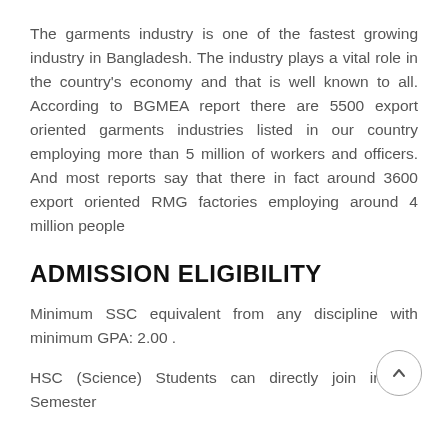The garments industry is one of the fastest growing industry in Bangladesh. The industry plays a vital role in the country's economy and that is well known to all. According to BGMEA report there are 5500 export oriented garments industries listed in our country employing more than 5 million of workers and officers. And most reports say that there in fact around 3600 export oriented RMG factories employing around 4 million people
ADMISSION ELIGIBILITY
Minimum SSC equivalent from any discipline with minimum GPA: 2.00 .
HSC (Science) Students can directly join in 3rd Semester